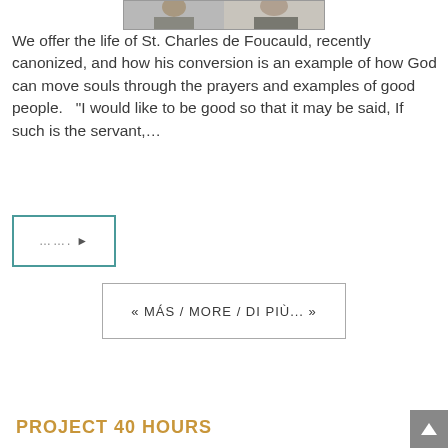[Figure (photo): Partial photo strip at the top of the page showing a person, cropped]
We offer the life of St. Charles de Foucauld, recently canonized, and how his conversion is an example of how God can move souls through the prayers and examples of good people.   "I would like to be good so that it may be said, If such is the servant,…
……. ▶
« MÁS / MORE / DI PIÙ... »
PROJECT 40 HOURS